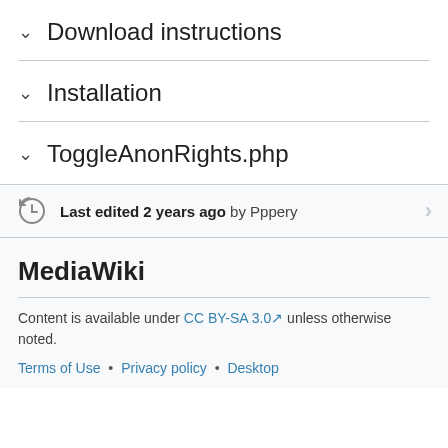Download instructions
Installation
ToggleAnonRights.php
Last edited 2 years ago by Pppery
MediaWiki
Content is available under CC BY-SA 3.0 unless otherwise noted.
Terms of Use • Privacy policy • Desktop